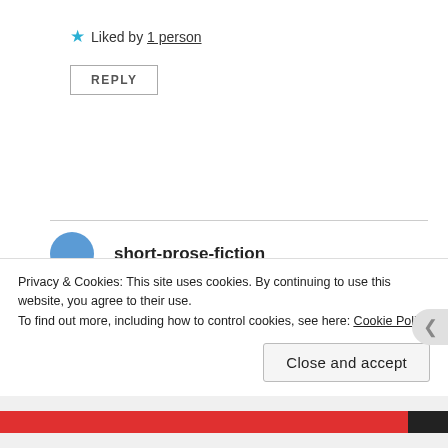★ Liked by 1 person
REPLY
short-prose-fiction
August 2, 2019 at 3:09 pm
Watt, this is a great piece. It's beyond powerful. A chaotic
Privacy & Cookies: This site uses cookies. By continuing to use this website, you agree to their use. To find out more, including how to control cookies, see here: Cookie Policy
Close and accept